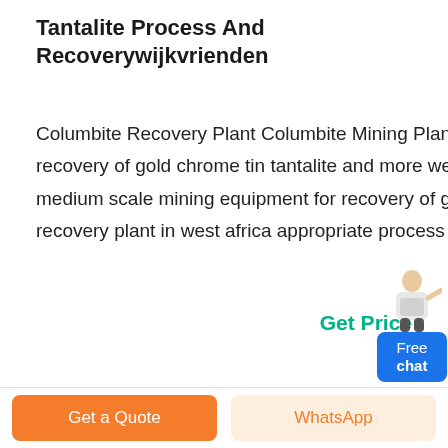Tantalite Process And Recoverywijkvrienden
Columbite Recovery Plant Columbite Mining Plant Small to medium scale mining equipment for recovery of gold chrome tin tantalite and more we are based in south africa but are global small to medium scale mining equipment for recovery of gold chrome tin tantalite and more a manganese recovery plant in west africa appropriate process technologies 218 new market road.
Get Price
Free chat
Get a Quote
WhatsApp